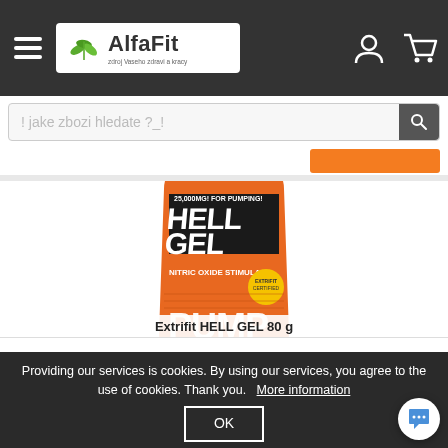[Figure (screenshot): AlfaFit e-commerce website header with dark navigation bar containing hamburger menu, AlfaFit logo with leaf icon, user icon, and cart icon. Below is a search bar with placeholder text '! jake zbozi hledate ?_!' and an orange button. Main content shows a product image of Extrifit HELL GEL 80g in orange packaging. A cookie consent banner overlays the bottom of the page.]
AlfaFit - zdroj Vaseho zdravi a kracy
! jake zbozi hledate ?_!
Extrifit HELL GEL 80 g
Providing our services is cookies. By using our services, you agree to the use of cookies. Thank you.   More information
OK
Extrifit Hellgel is a stimulator of NO production through the citru...